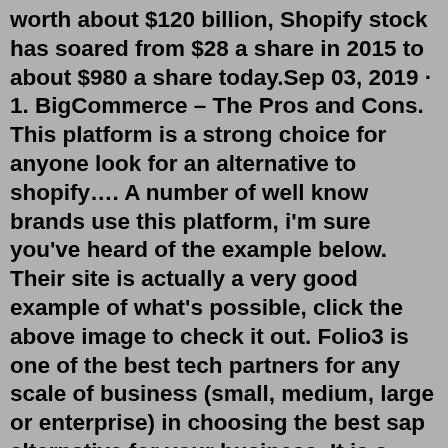worth about $120 billion, Shopify stock has soared from $28 a share in 2015 to about $980 a share today.Sep 03, 2019 · 1. BigCommerce – The Pros and Cons. This platform is a strong choice for anyone look for an alternative to shopify…. A number of well know brands use this platform, i'm sure you've heard of the example below. Their site is actually a very good example of what's possible, click the above image to check it out. Folio3 is one of the best tech partners for any scale of business (small, medium, large or enterprise) in choosing the best sap alternative for your business. It is a one-stop single solution for all your ERP implementation problems and has already partnered with 300+ companies worldwide. There is a lot of sap competition in the market, but ...Shopify is easier to use than BigCommerce, so even beginners are able to create an attractive storefront. That said, BigCommerce scored slightly higher than Shopify when it came to design - BigCommerce scored 4 stars compared to Shopify's 3.9... so you may find BigCommerce's themes more